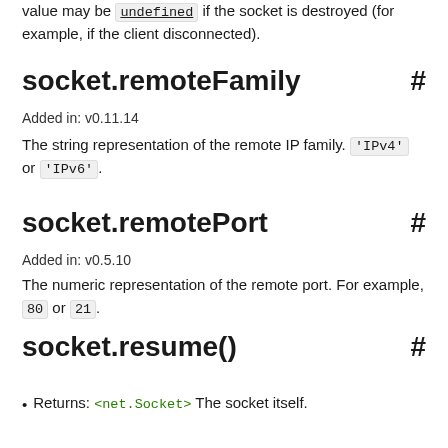value may be undefined if the socket is destroyed (for example, if the client disconnected).
socket.remoteFamily #
Added in: v0.11.14
The string representation of the remote IP family. 'IPv4' or 'IPv6'.
socket.remotePort #
Added in: v0.5.10
The numeric representation of the remote port. For example, 80 or 21.
socket.resume() #
Returns: <net.Socket> The socket itself.